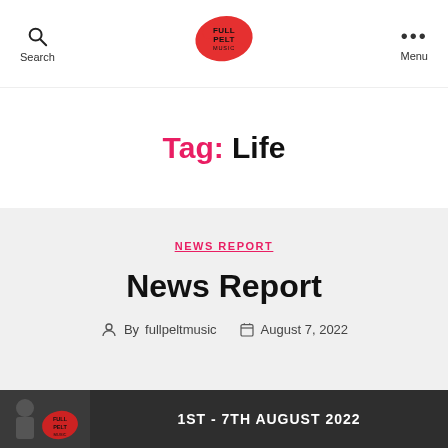Search | Full Pelt Music | Menu
Tag: Life
NEWS REPORT
News Report
By fullpeltmusic   August 7, 2022
[Figure (other): Partial image strip at bottom with text 1ST - 7TH AUGUST 2022]